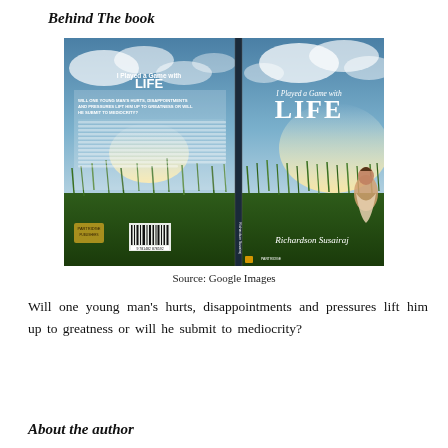Behind The book
[Figure (photo): Book cover of 'I Played a Game with LIFE' by Richardson Susairaj, showing front and back covers with a dramatic sky and grass field background. The front cover features a girl sitting in a field, and the back cover includes a book synopsis.]
Source: Google Images
Will one young man's hurts, disappointments and pressures lift him up to greatness or will he submit to mediocrity?
About the author